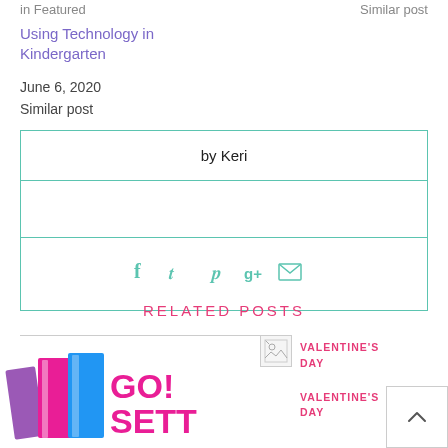in Featured
Similar post
Using Technology in Kindergarten
June 6, 2020
Similar post
by Keri
[Figure (infographic): Social share icons: Facebook, Twitter, Pinterest, Google+, Email in teal/green color]
RELATED POSTS
[Figure (photo): Colorful books stacked with GO! SETT... text in pink, partially visible]
[Figure (photo): Small thumbnail image placeholder]
VALENTINE'S DAY
VALENTINE'S DAY